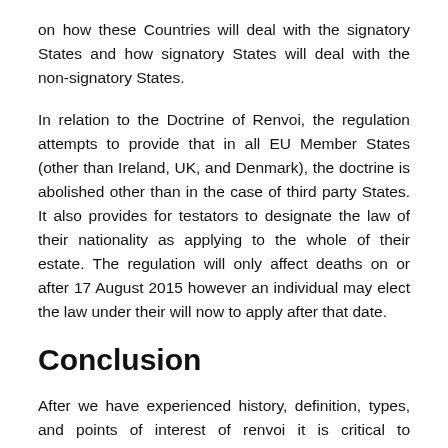on how these Countries will deal with the signatory States and how signatory States will deal with the non-signatory States.
In relation to the Doctrine of Renvoi, the regulation attempts to provide that in all EU Member States (other than Ireland, UK, and Denmark), the doctrine is abolished other than in the case of third party States. It also provides for testators to designate the law of their nationality as applying to the whole of their estate. The regulation will only affect deaths on or after 17 August 2015 however an individual may elect the law under their will now to apply after that date.
Conclusion
After we have experienced history, definition, types, and points of interest of renvoi it is critical to remember that it